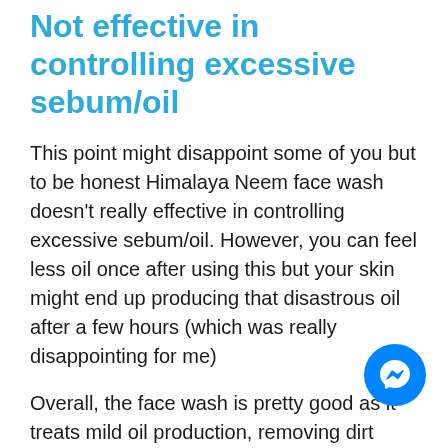Not effective in controlling excessive sebum/oil
This point might disappoint some of you but to be honest Himalaya Neem face wash doesn't really effective in controlling excessive sebum/oil. However, you can feel less oil once after using this but your skin might end up producing that disastrous oil after a few hours (which was really disappointing for me)
Overall, the face wash is pretty good as it treats mild oil production, removing dirt from the skin, and giving a refreshing feeling. Also, not to forget that it silently delivers a kind of chemical exfoliation (so trending these days in the